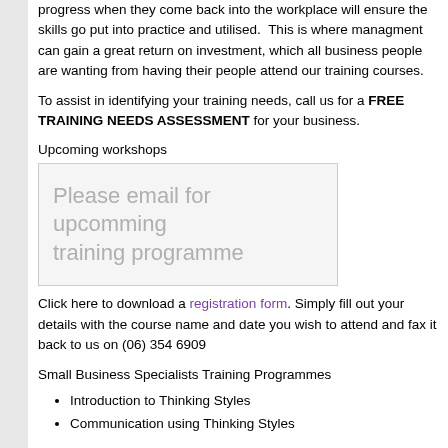progress when they come back into the workplace will ensure the skills go put into practice and utilised. This is where managment can gain a great return on investment, which all business people are wanting from having their people attend our training courses.
To assist in identifying your training needs, call us for a FREE TRAINING NEEDS ASSESSMENT for your business.
Upcoming workshops
[Figure (other): Placeholder box with text: Please email for upcomming training programme]
Click here to download a registration form. Simply fill out your details with the course name and date you wish to attend and fax it back to us on (06) 354 6909
Small Business Specialists Training Programmes
Introduction to Thinking Styles
Communication using Thinking Styles